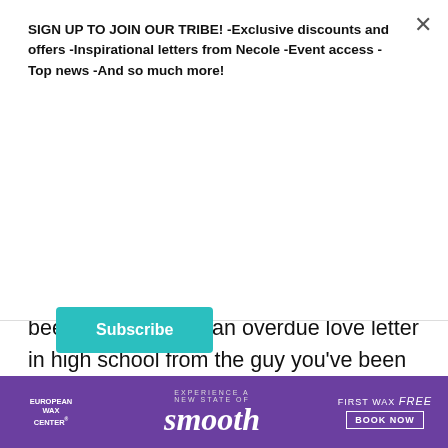SIGN UP TO JOIN OUR TRIBE! -Exclusive discounts and offers -Inspirational letters from Necole -Event access -Top news -And so much more!
Subscribe
bass, and never-ending sunshine, seeing Rap Sh!t pay homage to my state has been like receiving an overdue love letter in high school from the guy you’ve been crushing on for weeks.
KEEP READING...
Share  Twitter
[Figure (other): European Wax Center advertisement banner with purple background. Text reads: EUROPEAN WAX CENTER, EXPERIENCE A NEW STATE OF smooth, FIRST WAX free, BOOK NOW]